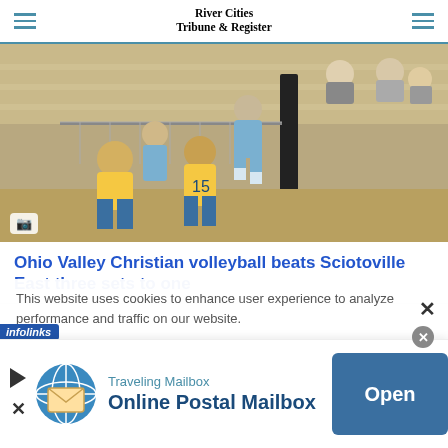River Cities Tribune & Register
[Figure (photo): Volleyball players from two teams competing near the net in a gym, with players in yellow and light blue uniforms]
Ohio Valley Christian volleyball beats Sciotoville East three sets to one
This website uses cookies to enhance user experience to analyze performance and traffic on our website.
infolinks
Traveling Mailbox Online Postal Mailbox Open